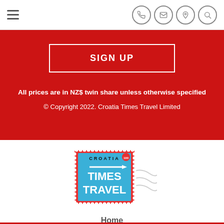Navigation header with hamburger menu and icons (phone, email, location, search)
SIGN UP
All prices are in NZ$ twin share unless otherwise specified
© Copyright 2022. Croatia Times Travel Limited
[Figure (logo): Croatia Times Travel stamp logo with 'CROATIA TIMES TRAVEL' text on a postage stamp design with wave lines]
Home